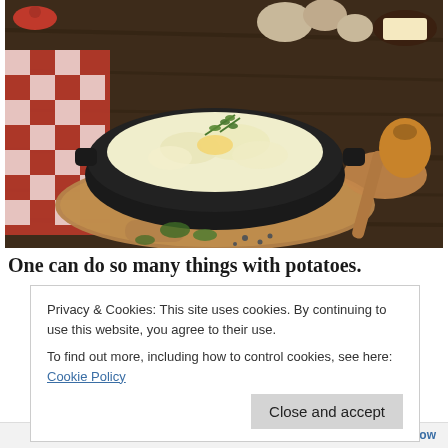[Figure (photo): A black cast-iron pot filled with creamy mashed potatoes garnished with fresh thyme sprigs, sitting on a wooden cutting board. Behind it are raw potatoes, a stick of butter on a dark plate, a wooden spoon, and a brown onion. A red and white checkered cloth is visible to the left. The scene is set on a dark wooden table surface.]
One can do so many things with potatoes.
Privacy & Cookies: This site uses cookies. By continuing to use this website, you agree to their use.
To find out more, including how to control cookies, see here: Cookie Policy
Close and accept
+ Follow